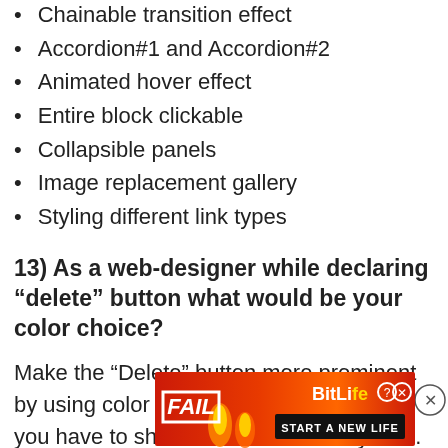Chainable transition effect
Accordion#1 and Accordion#2
Animated hover effect
Entire block clickable
Collapsible panels
Image replacement gallery
Styling different link types
13) As a web-designer while declaring “delete” button what would be your color choice?
Make the “Delete” button more prominent by using color like Red, especially when you have to show two button side by side. Red is sign of caution, so that will definitely help the user to draw their
[Figure (other): Advertisement banner for BitLife game with FAIL text, cartoon character, flames, and START A NEW LIFE text on red/orange background]